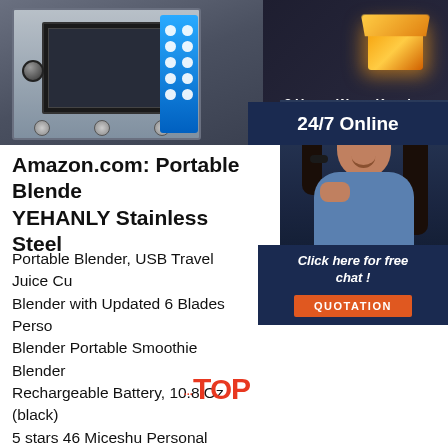[Figure (photo): Screenshot of an e-commerce page showing a kitchen appliance on the left with blue panel and dots, and a golden glowing box icon on the right with '8 Hours Warm Keeping' and 'THERMAL IN...' text, overlaid with a blue panel showing '24/7 Online' and a customer service agent photo with 'Click here for free chat!' and orange QUOTATION button.]
Amazon.com: Portable Blende YEHANLY Stainless Steel
Portable Blender, USB Travel Juice Cu Blender with Updated 6 Blades Perso Blender Portable Smoothie Blender Rechargeable Battery, 10.8 Oz (black) 5 stars 46 Miceshu Personal Portable Blender, Baby Food Mixer for Shakes and Smoothies, Mini Mixer, Smoothies Maker Fruit Blender Rechargeable, 10oz/300ml for Home, Office ...